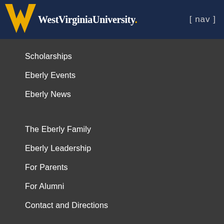West Virginia University [ nav ]
Scholarships
Eberly Events
Eberly News
The Eberly Family
Eberly Leadership
For Parents
For Alumni
Contact and Directions